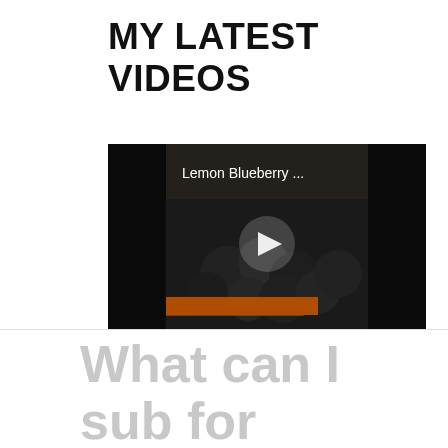MY LATEST VIDEOS
[Figure (screenshot): Video thumbnail showing 'Lemon Blueberry ...' title overlay on a dark blueberry image with a play button in the center and an orange/brown bar at the bottom]
What can I sub for